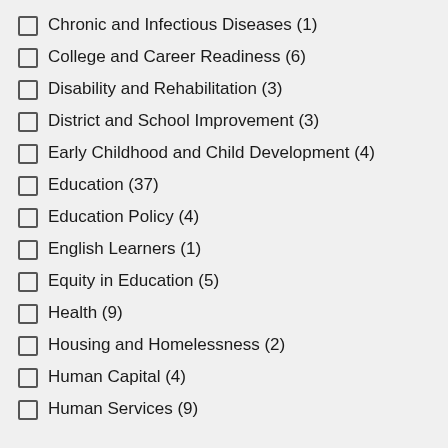Chronic and Infectious Diseases (1)
College and Career Readiness (6)
Disability and Rehabilitation (3)
District and School Improvement (3)
Early Childhood and Child Development (4)
Education (37)
Education Policy (4)
English Learners (1)
Equity in Education (5)
Health (9)
Housing and Homelessness (2)
Human Capital (4)
Human Services (9)